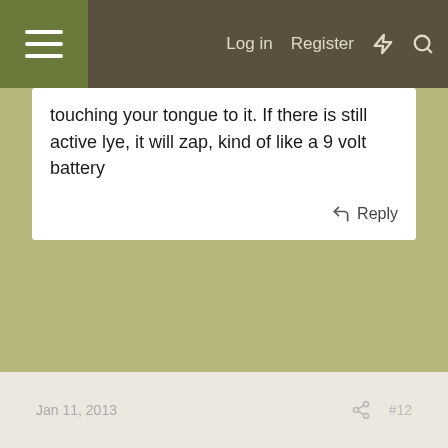Log in  Register
touching your tongue to it. If there is still active lye, it will zap, kind of like a 9 volt battery
Reply
Jan 11, 2013  #12